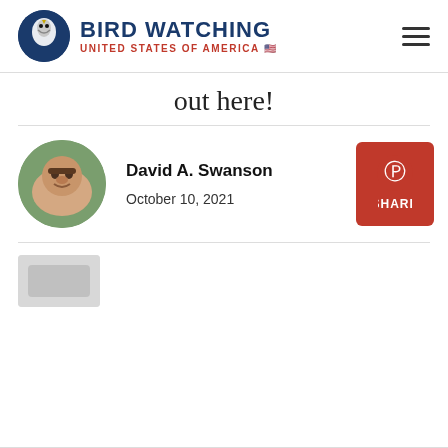Bird Watching United States of America
out here!
David A. Swanson
October 10, 2021
[Figure (photo): Pinterest Share button (red square with Pinterest logo and SHARE label)]
[Figure (photo): Partial image placeholder at bottom of page]